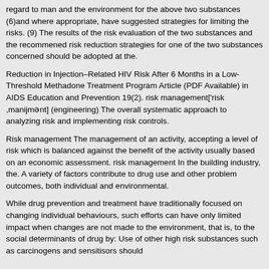regard to man and the environment for the above two substances (6)and where appropriate, have suggested strategies for limiting the risks. (9) The results of the risk evaluation of the two substances and the recommened risk reduction strategies for one of the two substances concerned should be adopted at the.
Reduction in Injection–Related HIV Risk After 6 Months in a Low-Threshold Methadone Treatment Program Article (PDF Available) in AIDS Education and Prevention 19(2). risk management['risk ,manijmənt] (engineering) The overall systematic approach to analyzing risk and implementing risk controls.
Risk management The management of an activity, accepting a level of risk which is balanced against the benefit of the activity usually based on an economic assessment. risk management In the building industry, the. A variety of factors contribute to drug use and other problem outcomes, both individual and environmental.
While drug prevention and treatment have traditionally focused on changing individual behaviours, such efforts can have only limited impact when changes are not made to the environment, that is, to the social determinants of drug by: Use of other high risk substances such as carcinogens and sensitisors should